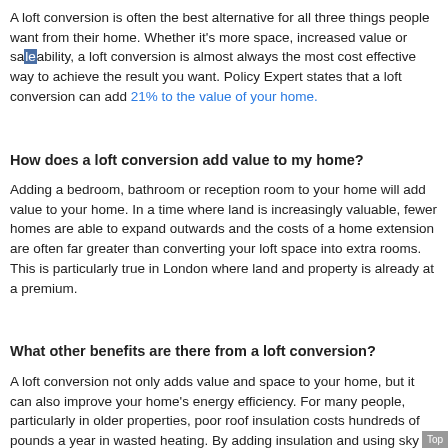A loft conversion is often the best alternative for all three things people want from their home. Whether it's more space, increased value or saleability, a loft conversion is almost always the most cost effective way to achieve the result you want. Policy Expert states that a loft conversion can add 21% to the value of your home.
How does a loft conversion add value to my home?
Adding a bedroom, bathroom or reception room to your home will add value to your home. In a time where land is increasingly valuable, fewer homes are able to expand outwards and the costs of a home extension are often far greater than converting your loft space into extra rooms. This is particularly true in London where land and property is already at a premium.
What other benefits are there from a loft conversion?
A loft conversion not only adds value and space to your home, but it can also improve your home's energy efficiency. For many people, particularly in older properties, poor roof insulation costs hundreds of pounds a year in wasted heating. By adding insulation and using sky lights to allow light and heat into your home, a loft conversion can improve your home's